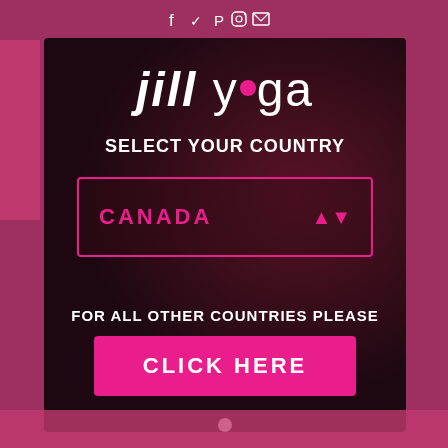Social icons bar (Facebook, Twitter, Pinterest, Instagram, Email)
[Figure (logo): Jill Yoga logo — bold italic white 'jill' with pink dot in 'yoga' text]
SELECT YOUR COUNTRY
CANADA
FOR ALL OTHER COUNTRIES PLEASE
CLICK HERE